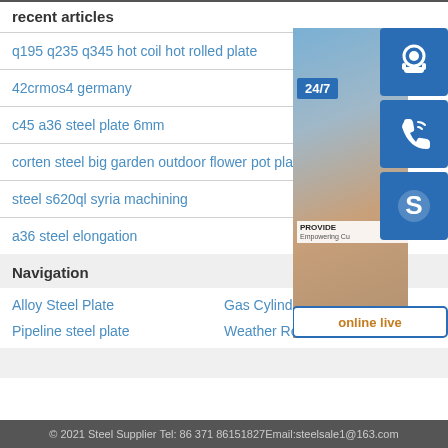recent articles
q195 q235 q345 hot coil hot rolled plate
42crmos4 germany
c45 a36 steel plate 6mm
corten steel big garden outdoor flower pot plant
steel s620ql syria machining
a36 steel elongation
[Figure (photo): Customer service representative with headset, contact icons for headset, phone, and Skype, 24/7 badge, PROVIDE Empowering Customers text, online live button]
Navigation
Alloy Steel Plate
Gas Cylinder Steel coil
Pipeline steel plate
Weather Resistant Steel Plate
© 2021 Steel Supplier Tel: 86 371 86151827Email:steelsale1@163.com